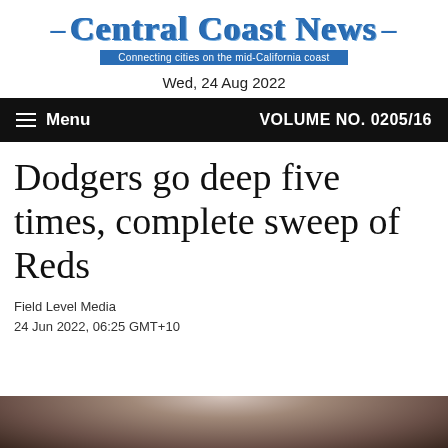Central Coast News — Connecting cities on the mid-California coast
Wed, 24 Aug 2022
Menu  VOLUME NO. 0205/16
Dodgers go deep five times, complete sweep of Reds
Field Level Media
24 Jun 2022, 06:25 GMT+10
[Figure (photo): Partial photo at bottom of page showing blurred background, appears to be a baseball-related image]